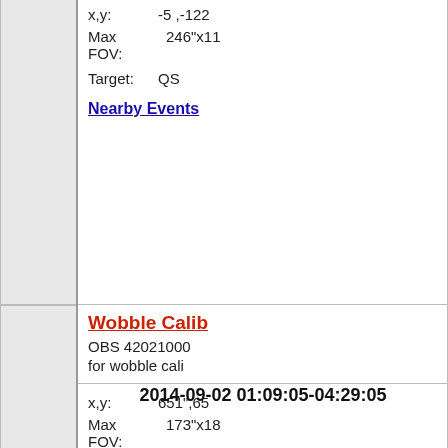|  | x,y: -5,-122...
Max FOV: 246"x11...
Target: QS
Nearby Events |
| 2014-09-02 01:09:05-04:29:05 | Wobble Calib...
OBS 42021000...
for wobble cali...
x,y: 651",65...
Max FOV: 173"x18...
Target: (NONE)
Roll: 45 deg
Nearby Events |
| 2014-09-01 21:38:59-00:50:19 +1d | Wobble Calib...
OBS 42021000...
for wobble cali... |